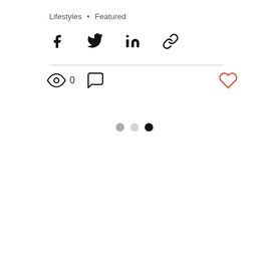Lifestyles • Featured
[Figure (other): Social share icons row: Facebook, Twitter, LinkedIn, Link/chain]
[Figure (other): Engagement row: eye icon with count 0, comment icon, and heart (like) icon on the right]
[Figure (other): Pagination dots: three dots, gray, light gray, black (active)]